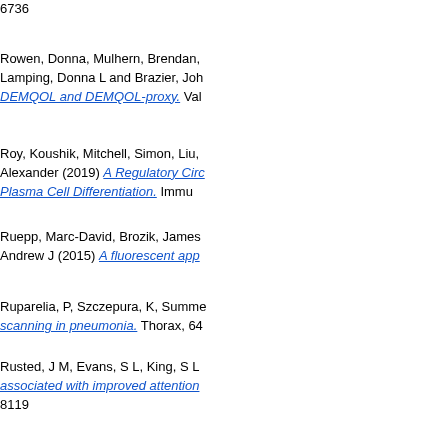6736
Rowen, Donna, Mulhern, Brendan, Lamping, Donna L and Brazier, John DEMQOL and DEMQOL-proxy. Val
Roy, Koushik, Mitchell, Simon, Liu, Alexander (2019) A Regulatory Circ Plasma Cell Differentiation. Immu
Ruepp, Marc-David, Brozik, James Andrew J (2015) A fluorescent app
Ruparelia, P, Szczepura, K, Summe scanning in pneumonia. Thorax, 64
Rusted, J M, Evans, S L, King, S L associated with improved attention 8119
Rutjes, Anne W S, Denton, David A John L, Malik, Muzaffar A, Vernooij mineral supplementation for mainta Database of Systematic Reviews, 2
Ryan, Grace K, Semrau, Maya, Nk